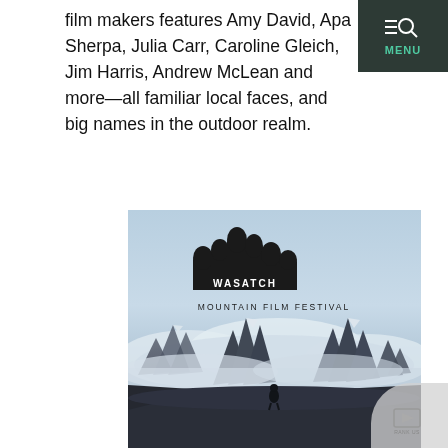film makers features Amy David, Apa Sherpa, Julia Carr, Caroline Gleich, Jim Harris, Andrew McLean and more—all familiar local faces, and big names in the outdoor realm.
[Figure (logo): Wasatch Mountain Film Festival poster. Black mountain silhouette logo spelling WASATCH with letters in white on dark mountain shapes, subtitle MOUNTAIN FILM FESTIVAL below. Background photo of dramatic mountain peaks with clouds and mist, lone figure silhouetted in foreground.]